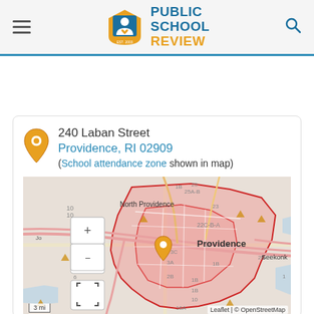Public School Review - EST. 2003
240 Laban Street
Providence, RI 02909
(School attendance zone shown in map)
[Figure (map): Street map showing Providence, RI area with school attendance zone highlighted in red/pink shading. Orange location pin marks 240 Laban Street. Map includes North Providence, Seekonk, and numbered route labels (10, 9C, 9C-A, 9B, 9, 7, 6, 18, 1B, 25, 25A-B, 23, 22C-B-A, 20, 14, 3C, 3A, 2B, 2B, 24, 10, 16A, 2B, 1). Zoom controls (+/-) and fullscreen button visible. Scale shows 3 mi.]